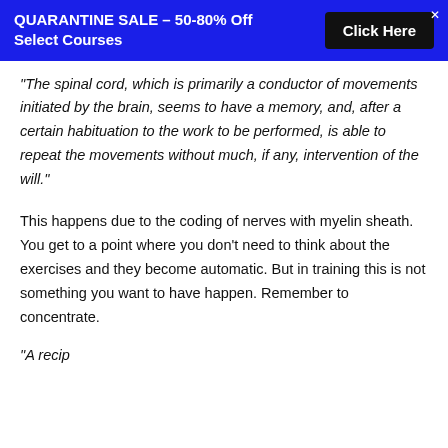QUARANTINE SALE – 50-80% Off Select Courses   Click Here
“The spinal cord, which is primarily a conductor of movements initiated by the brain, seems to have a memory, and, after a certain habituation to the work to be performed, is able to repeat the movements without much, if any, intervention of the will.”
This happens due to the coding of nerves with myelin sheath. You get to a point where you don’t need to think about the exercises and they become automatic. But in training this is not something you want to have happen. Remember to concentrate.
“A recip…